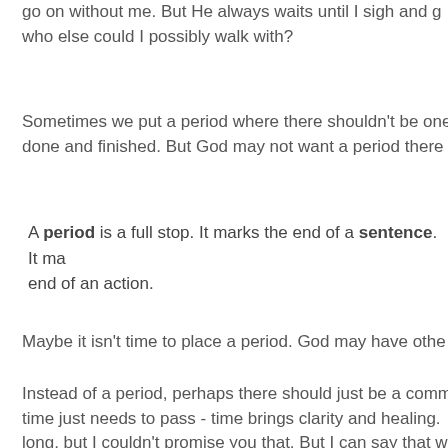go on without me. But He always waits until I sigh and g who else could I possibly walk with?
Sometimes we put a period where there shouldn't be one done and finished. But God may not want a period there
A period is a full stop. It marks the end of a sentence. It ma end of an action.
Maybe it isn't time to place a period. God may have othe
Instead of a period, perhaps there should just be a comm time just needs to pass - time brings clarity and healing. long, but I couldn't promise you that. But I can say that w
But when God thinks about you, whoever you are readin an exclamation mark. An exclamation mark signifies inte